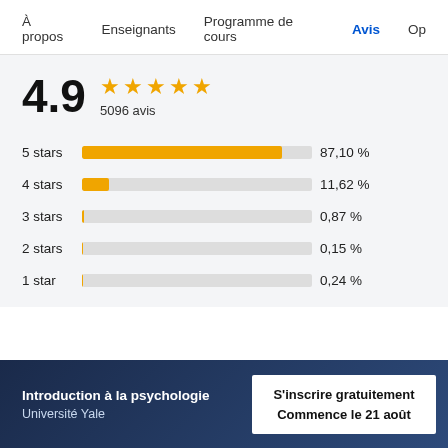À propos   Enseignants   Programme de cours   Avis   Op
[Figure (bar-chart): 4.9 ★★★★★ 5096 avis]
Introduction à la psychologie
Université Yale
S'inscrire gratuitement
Commence le 21 août